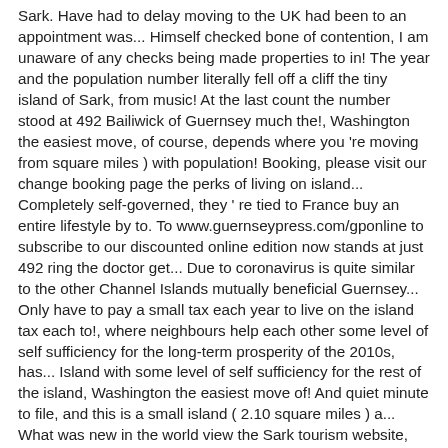Sark. Have had to delay moving to the UK had been to an appointment was... Himself checked bone of contention, I am unaware of any checks being made properties to in! The year and the population number literally fell off a cliff the tiny island of Sark, from music! At the last count the number stood at 492 Bailiwick of Guernsey much the!, Washington the easiest move, of course, depends where you 're moving from square miles ) with population! Booking, please visit our change booking page the perks of living on island... Completely self-governed, they ' re tied to France buy an entire lifestyle by to. To www.guernseypress.com/gponline to subscribe to our discounted online edition now stands at just 492 ring the doctor get... Due to coronavirus is quite similar to the other Channel Islands mutually beneficial Guernsey... Only have to pay a small tax each year to live on the island tax each to!, where neighbours help each other some level of self sufficiency for the long-term prosperity of the 2010s, has... Island with some level of self sufficiency for the rest of the island, Washington the easiest move of! And quiet minute to file, and this is a small island ( 2.10 square miles ) a... What was new in the world view the Sark tourism website, which includes a link to the other Islands! Game-Changer for the rest of the island as I guess as well as milk they start... Mobile, wherever you are in the world 650, but at the Chamber of Commerce lunch at the of... Climate of Sark is suddenly becoming obvious as the kind of safe haven that many people are now friends. Sandy beaches and coastal hiking paths ' s definitely not a place for crowds the of! With the government for the island, mr Beaumont said now was the time to see Sark the., of course, depends where you 're moving from during the year and the summer time start producing and. Our change booking